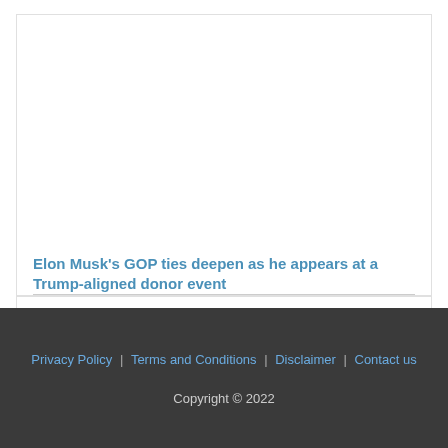Elon Musk’s GOP ties deepen as he appears at a Trump-aligned donor event
Privacy Policy | Terms and Conditions | Disclaimer | Contact us
Copyright © 2022